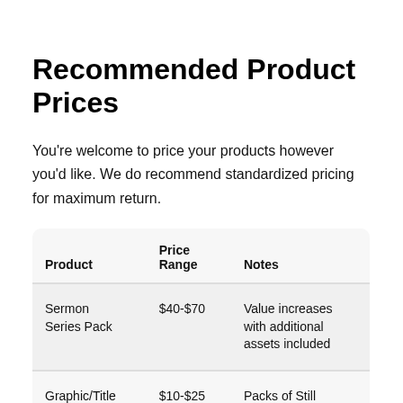Recommended Product Prices
You're welcome to price your products however you'd like. We do recommend standardized pricing for maximum return.
| Product | Price Range | Notes |
| --- | --- | --- |
| Sermon Series Pack | $40-$70 | Value increases with additional assets included |
| Graphic/Title Pack | $10-$25 | Packs of Still Graphics, Lower Thirds, etc |